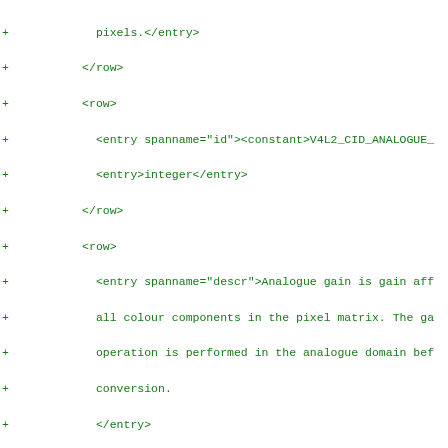+ pixels.</entry>
+         </row>
+         <row>
+           <entry spanname="id"><constant>V4L2_CID_ANALOGUE_
+           <entry>integer</entry>
+         </row>
+         <row>
+           <entry spanname="descr">Analogue gain is gain aff
+           all colour components in the pixel matrix. The ga
+           operation is performed in the analogue domain bef
+           conversion.
+           </entry>
+         </row>
+         <row><entry></entry></row>
+       </tbody>
+     </tgroup>
+     </table>
+
+   </section>
+
+   <section id="image-process-controls">
+     <title>Image Process Control Reference</title>
+
+     <note>
+       <title>Experimental</title>